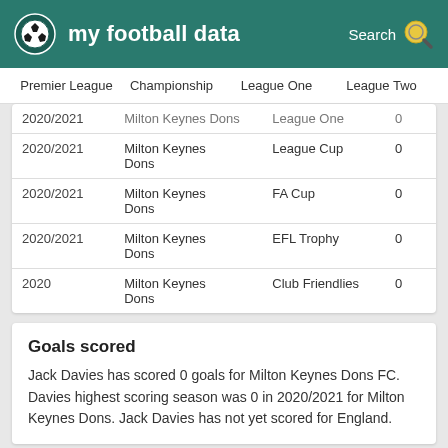my football data | Search
Premier League  Championship  League One  League Two
| Season | Club | Competition | Goals |
| --- | --- | --- | --- |
| 2020/2021 | Milton Keynes Dons | League One | 0 |
| 2020/2021 | Milton Keynes Dons | League Cup | 0 |
| 2020/2021 | Milton Keynes Dons | FA Cup | 0 |
| 2020/2021 | Milton Keynes Dons | EFL Trophy | 0 |
| 2020 | Milton Keynes Dons | Club Friendlies | 0 |
Goals scored
Jack Davies has scored 0 goals for Milton Keynes Dons FC. Davies highest scoring season was 0 in 2020/2021 for Milton Keynes Dons. Jack Davies has not yet scored for England.